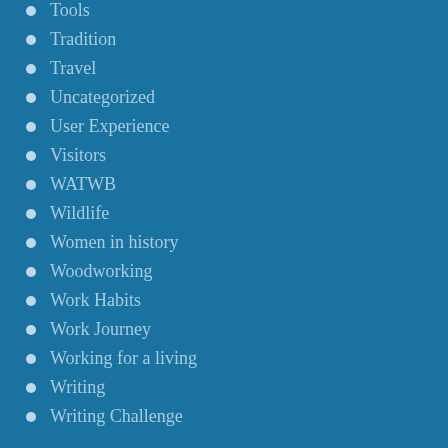Tools
Tradition
Travel
Uncategorized
User Experience
Visitors
WATWB
Wildlife
Women in history
Woodworking
Work Habits
Work Journey
Working for a living
Writing
Writing Challenge